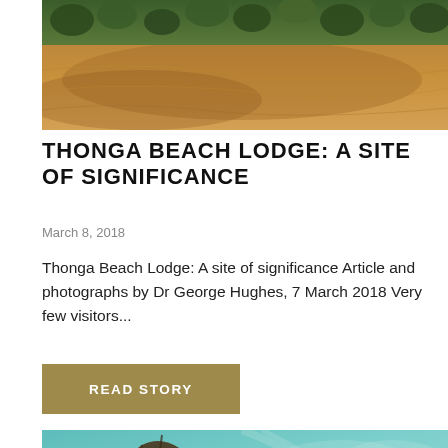[Figure (photo): Aerial view of a sandy beach with palm trees and green vegetation along the coastline.]
THONGA BEACH LODGE: A SITE OF SIGNIFICANCE
March 8, 2018
Thonga Beach Lodge: A site of significance Article and photographs by Dr George Hughes, 7 March 2018 Very few visitors...
READ STORY
[Figure (photo): Close-up of what appears to be turtle flippers or similar marine creature against a teal/turquoise water background.]